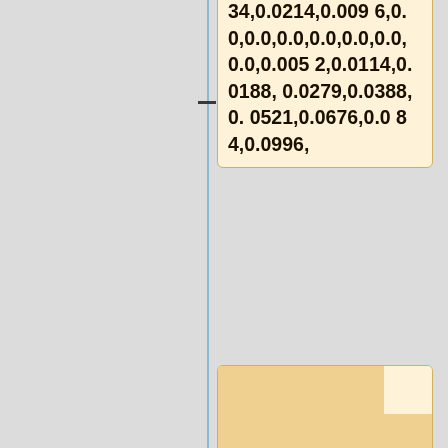34,0.0214,0.0096,0.0,0.0,0.0,0.0,0.0,0.0,0.0,0.0,0.0052,0.0114,0.0188,0.0279,0.0388,0.0521,0.0676,0.084,0.0996,
0.1128,0.1218,0.125,0.1213,0.1121,0.0995,0.0857,0.0726,0.0625,0.0568,0.0549,0.0557,0.058,0.0606,0.0625,0.0627,0.0615,0.0593,
0.0567,0.0541,0.0521,0.0509,0.0